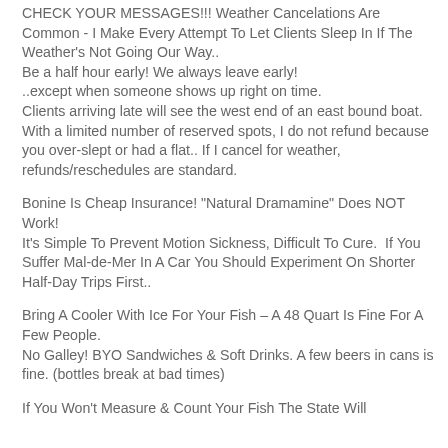CHECK YOUR MESSAGES!!! Weather Cancelations Are Common - I Make Every Attempt To Let Clients Sleep In If The Weather's Not Going Our Way.. Be a half hour early! We always leave early! ..except when someone shows up right on time. Clients arriving late will see the west end of an east bound boat. With a limited number of reserved spots, I do not refund because you over-slept or had a flat.. If I cancel for weather, refunds/reschedules are standard.
Bonine Is Cheap Insurance! "Natural Dramamine" Does NOT Work! It's Simple To Prevent Motion Sickness, Difficult To Cure.  If You Suffer Mal-de-Mer In A Car You Should Experiment On Shorter Half-Day Trips First..
Bring A Cooler With Ice For Your Fish – A 48 Quart Is Fine For A Few People. No Galley! BYO Sandwiches & Soft Drinks. A few beers in cans is fine. (bottles break at bad times)
If You Won't Measure & Count Your Fish The State Will